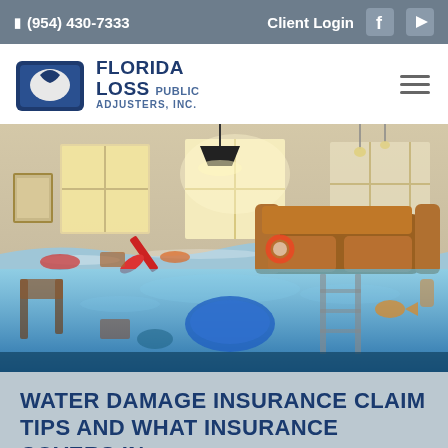(954) 430-7333  Client Login
[Figure (logo): Florida Loss Public Adjusters, Inc. logo with blue shield/folder icon]
[Figure (photo): Flooded living room scene showing furniture, objects floating in water, split view above and below waterline]
WATER DAMAGE INSURANCE CLAIM TIPS AND WHAT INSURANCE COVERS IN